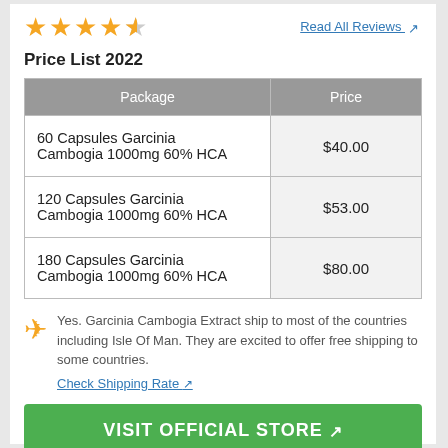[Figure (other): 4.5 star rating (4 full orange stars and 1 half star)]
Read All Reviews ↗
Price List 2022
| Package | Price |
| --- | --- |
| 60 Capsules Garcinia Cambogia 1000mg 60% HCA | $40.00 |
| 120 Capsules Garcinia Cambogia 1000mg 60% HCA | $53.00 |
| 180 Capsules Garcinia Cambogia 1000mg 60% HCA | $80.00 |
Yes. Garcinia Cambogia Extract ship to most of the countries including Isle Of Man. They are excited to offer free shipping to some countries.
Check Shipping Rate ↗
VISIT OFFICIAL STORE ↗